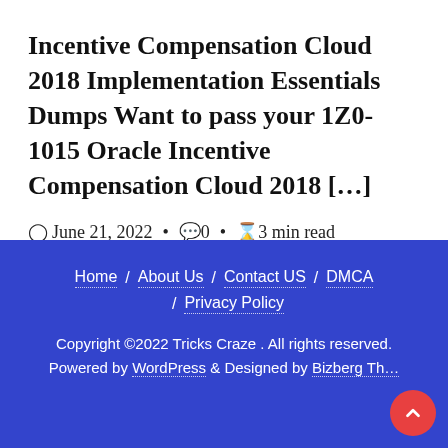Incentive Compensation Cloud 2018 Implementation Essentials Dumps Want to pass your 1Z0-1015 Oracle Incentive Compensation Cloud 2018 […]
June 21, 2022 • 0 • 3 min read
Home / About Us / Contact US / DMCA / Privacy Policy
Copyright ©2022 Tricks Craze . All rights reserved.
Powered by WordPress & Designed by Bizberg Th…